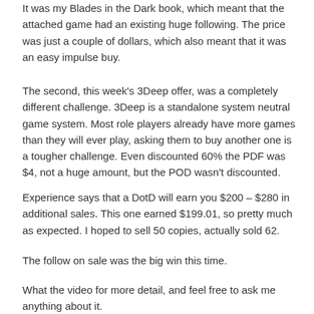It was my Blades in the Dark book, which meant that the attached game had an existing huge following. The price was just a couple of dollars, which also meant that it was an easy impulse buy.
The second, this week's 3Deep offer, was a completely different challenge. 3Deep is a standalone system neutral game system. Most role players already have more games than they will ever play, asking them to buy another one is a tougher challenge. Even discounted 60% the PDF was $4, not a huge amount, but the POD wasn't discounted.
Experience says that a DotD will earn you $200 – $280 in additional sales. This one earned $199.01, so pretty much as expected. I hoped to sell 50 copies, actually sold 62.
The follow on sale was the big win this time.
What the video for more detail, and feel free to ask me anything about it.